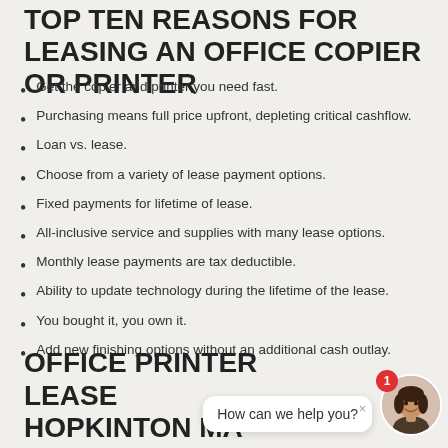TOP TEN REASONS FOR LEASING AN OFFICE COPIER OR PRINTER
Get the copier and printer you need fast.
Purchasing means full price upfront, depleting critical cashflow.
Loan vs. lease.
Choose from a variety of lease payment options.
Fixed payments for lifetime of lease.
All-inclusive service and supplies with many lease options.
Monthly lease payments are tax deductible.
Ability to update technology during the lifetime of the lease.
You bought it, you own it.
Add new finishing options without an additional cash outlay.
OFFICE PRINTER LEASE HOPKINTON MA
[Figure (other): Chat widget with avatar of a smiling woman, notification badge showing '1', and speech bubble saying 'How can we help you?' with a close button.]